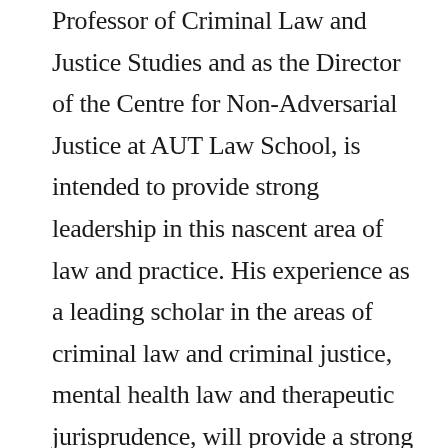Professor of Criminal Law and Justice Studies and as the Director of the Centre for Non-Adversarial Justice at AUT Law School, is intended to provide strong leadership in this nascent area of law and practice. His experience as a leading scholar in the areas of criminal law and criminal justice, mental health law and therapeutic jurisprudence, will provide a strong academic platform for the Centre to become an internationally recognised research centre, and a national focus for developments on non-adversarial justice.
Beyond the academy the Centre aims to provide